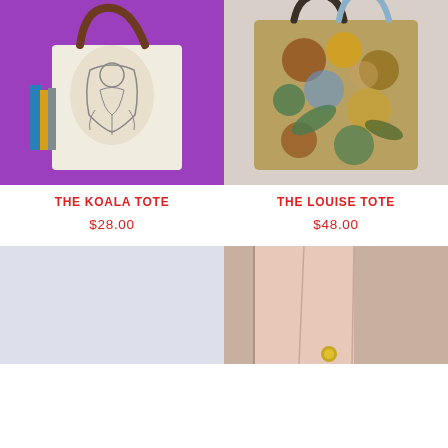[Figure (photo): A canvas tote bag with a koala/skeleton anatomical illustration, hanging against a purple background with books]
[Figure (photo): A floral tapestry tote bag with autumn floral pattern against a light grey background]
THE KOALA TOTE
$28.00
THE LOUISE TOTE
$48.00
[Figure (photo): Product image on light lavender background, partially visible]
[Figure (photo): A light pink/blush fabric or bag item against a neutral background, partially visible]